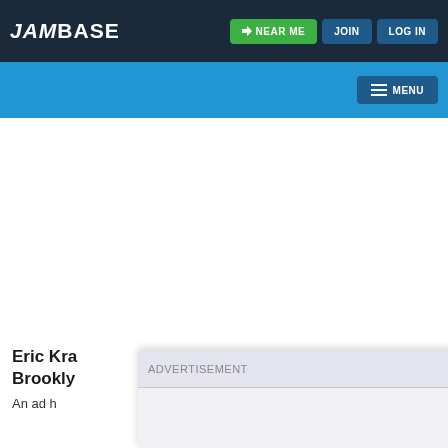JamBase — NEAR ME | JOIN | LOG IN
[Figure (screenshot): JamBase website navigation bar with logo, Near Me button (green), Join button (blue), Log In button (blue), and a blue sub-navigation bar with a Menu button]
ADVERTISEMENT
Eric Kra... Brookly...
An ad h... r at